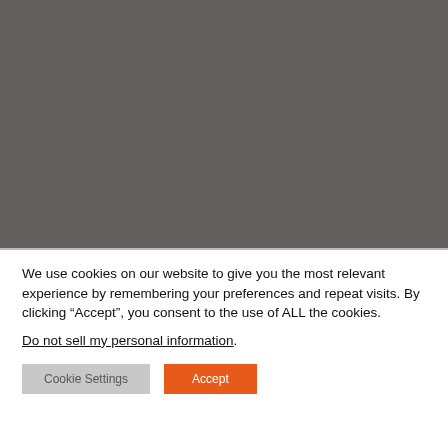[Figure (photo): Dark gray/charcoal colored background block occupying the top portion of the page, representing a blurred or obscured website screenshot.]
We use cookies on our website to give you the most relevant experience by remembering your preferences and repeat visits. By clicking “Accept”, you consent to the use of ALL the cookies.
Do not sell my personal information.
[Figure (screenshot): Two buttons side by side: a gray 'Cookie Settings' button on the left and an orange 'Accept' button on the right.]